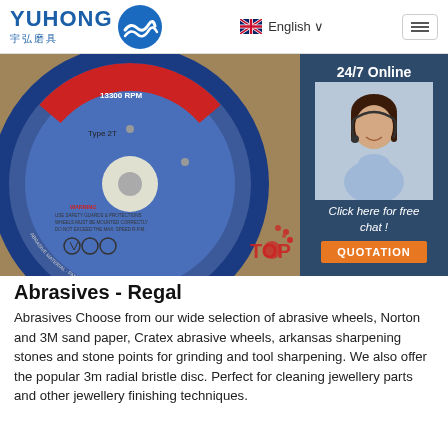YUHONG 宇弘磨具 | English | Menu
[Figure (photo): Close-up photo of a blue abrasive grinding wheel with 'Type 2T', '13300 RPM', and WARNING safety labels visible. A customer service agent (woman with headset, smiling) is shown in an overlay panel on the right with '24/7 Online', 'Click here for free chat!', and 'QUOTATION' button.]
Abrasives - Regal
Abrasives Choose from our wide selection of abrasive wheels, Norton and 3M sand paper, Cratex abrasive wheels, arkansas sharpening stones and stone points for grinding and tool sharpening. We also offer the popular 3m radial bristle disc. Perfect for cleaning jewellery parts and other jewellery finishing techniques.